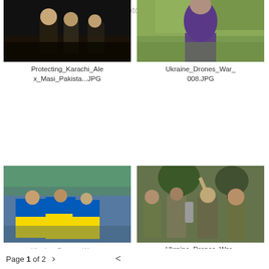Alex Masi Documentary Photography
[Figure (photo): Dark scene with people standing, low light, appears to be night scene - Protecting Karachi photo]
Protecting_Karachi_Alex_Masi_Pakista...JPG
[Figure (photo): Person in purple shirt in a field - Ukraine Drones War photo]
Ukraine_Drones_War_008.JPG
[Figure (photo): People wrapped in Ukrainian blue and yellow flags at an outdoor gathering]
Ukraine_Drones_War_...
[Figure (photo): Military personnel in camouflage outdoors under trees, one person raising hand]
Ukraine_Drones_War_024.JPG
Page 1 of 2